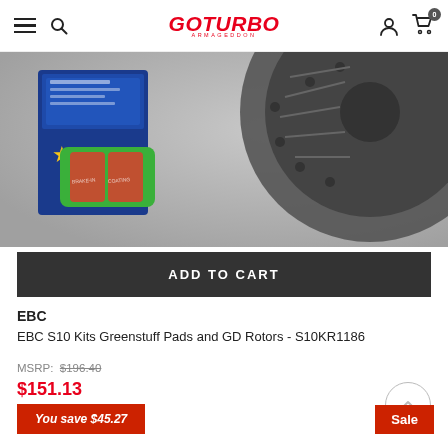GoTurbo Armageddon — navigation header with hamburger menu, search, logo, user icon, cart (0)
[Figure (photo): Product photo: EBC Greenstuff brake pads (green backing, red friction material with 'BRAKE-IN COATING' text) next to a blue product box and a dark drilled/slotted brake rotor]
ADD TO CART
EBC
EBC S10 Kits Greenstuff Pads and GD Rotors - S10KR1186
MSRP: $196.40
$151.13
You save $45.27
Sale